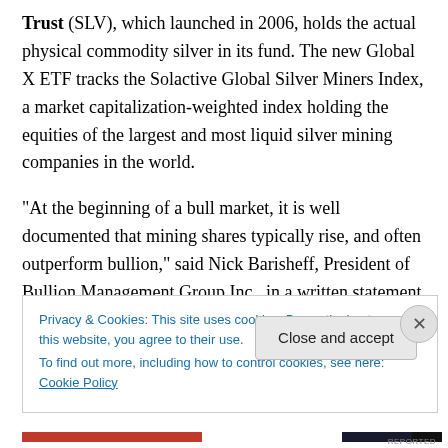Trust (SLV), which launched in 2006, holds the actual physical commodity silver in its fund. The new Global X ETF tracks the Solactive Global Silver Miners Index, a market capitalization-weighted index holding the equities of the largest and most liquid silver mining companies in the world.
“At the beginning of a bull market, it is well documented that mining shares typically rise, and often outperform bullion,” said Nick Barisheff, President of Bullion Management Group Inc., in a written statement. It is true
Privacy & Cookies: This site uses cookies. By continuing to use this website, you agree to their use.
To find out more, including how to control cookies, see here: Cookie Policy